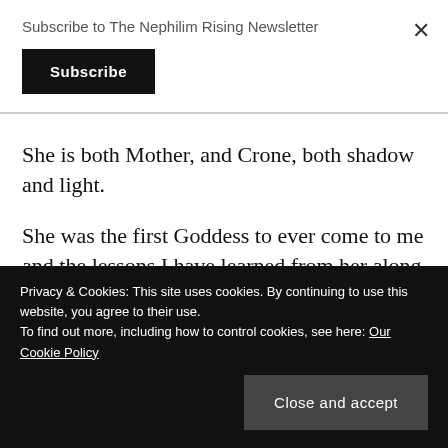Subscribe to The Nephilim Rising Newsletter
She is both Mother, and Crone, both shadow and light.
She was the first Goddess to ever come to me and the lessons I have learned from her along the way cannot be quantified. She has taught me to accept death and confused I am, there is always a choice, there is always
Privacy & Cookies: This site uses cookies. By continuing to use this website, you agree to their use.
To find out more, including how to control cookies, see here: Our Cookie Policy